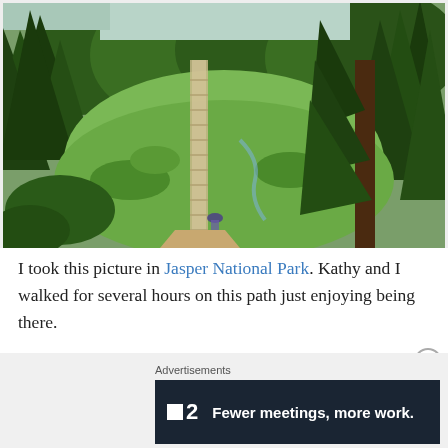[Figure (photo): Aerial view of a boardwalk path through a green meadow and coniferous forest in Jasper National Park. A person is visible near the bottom of the path. Trees frame both sides of the image.]
I took this picture in Jasper National Park. Kathy and I walked for several hours on this path just enjoying being there.
Advertisements
[Figure (screenshot): Advertisement banner with dark navy background showing the Basecamp logo (a small white square icon) followed by '2' and the text 'Fewer meetings, more work.' in white bold font.]